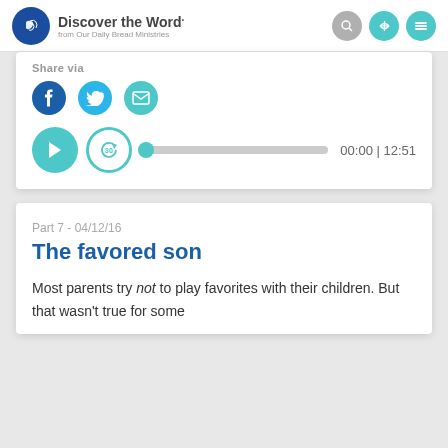Discover the Word from Our Daily Bread Ministries
Share via
[Figure (screenshot): Social share icons: Facebook (blue circle), Twitter (light blue circle), Email (teal circle)]
[Figure (screenshot): Audio player with play button, 30-second replay button, progress bar with teal scrubber, and time display showing 00:00 | 12:51]
Part 7 - 04/12/16
The favored son
Most parents try not to play favorites with their children. But that wasn't true for some